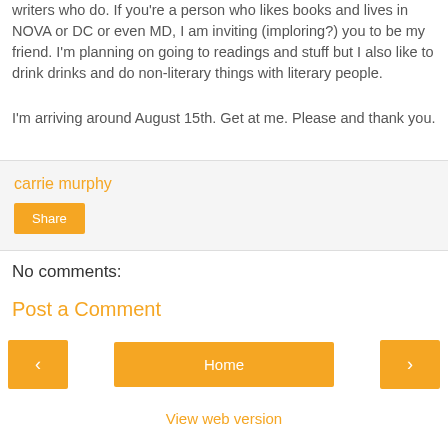writers who do. If you're a person who likes books and lives in NOVA or DC or even MD, I am inviting (imploring?) you to be my friend. I'm planning on going to readings and stuff but I also like to drink drinks and do non-literary things with literary people.
I'm arriving around August 15th. Get at me. Please and thank you.
carrie murphy
Share
No comments:
Post a Comment
‹
Home
›
View web version